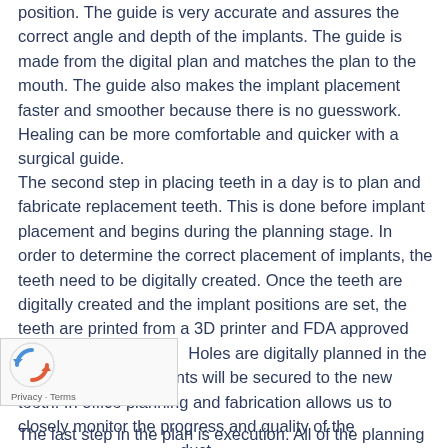position. The guide is very accurate and assures the correct angle and depth of the implants. The guide is made from the digital plan and matches the plan to the mouth. The guide also makes the implant placement faster and smoother because there is no guesswork. Healing can be more comfortable and quicker with a surgical guide.
The second step in placing teeth in a day is to plan and fabricate replacement teeth. This is done before implant placement and begins during the planning stage. In order to determine the correct placement of implants, the teeth need to be digitally created. Once the teeth are digitally created and the implant positions are set, the teeth are printed from a 3D printer and FDA approved materials in our office.  Holes are digitally planned in the teeth where the implants will be secured to the new teeth. In office planning and fabrication allows us to closely monitor the progress and quality of the product.
The last step in the plan is execution. All of the planning and